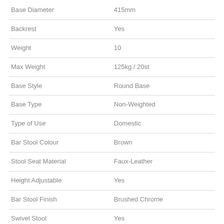| Attribute | Value |
| --- | --- |
| Base Diameter | 415mm |
| Backrest | Yes |
| Weight | 10 |
| Max Weight | 125kg / 20st |
| Base Style | Round Base |
| Base Type | Non-Weighted |
| Type of Use | Domestic |
| Bar Stool Colour | Brown |
| Stool Seat Material | Faux-Leather |
| Height Adjustable | Yes |
| Bar Stool Finish | Brushed Chrome |
| Swivel Stool | Yes |